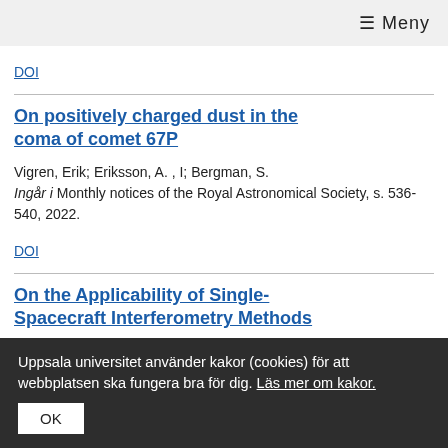≡ Meny
DOI
On positively charged dust in the coma of comet 67P
Vigren, Erik; Eriksson, A. , I; Bergman, S. Ingår i Monthly notices of the Royal Astronomical Society, s. 536-540, 2022.
DOI
On the Applicability of Single-Spacecraft Interferometry Methods
Uppsala universitet använder kakor (cookies) för att webbplatsen ska fungera bra för dig. Läs mer om kakor. OK